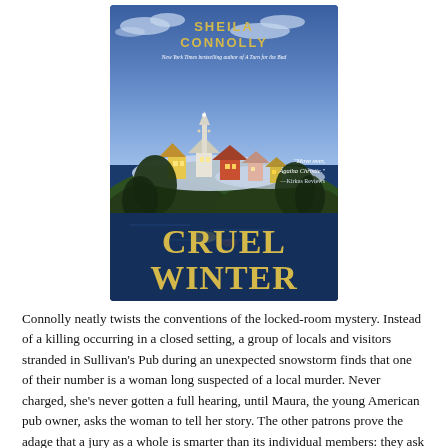[Figure (illustration): Book cover of 'Cruel Winter' by Sheila Connolly. Dark blue wintry scene with a New England coastal village at night, snow-covered hillside with colorful houses and a church steeple, water in the foreground. Author name 'SHEILA CONNOLLY' in gold at top, subtitle 'New York Times bestselling author of A Turn for the Bad', a quote 'Move over, Agatha Christie.' —Kirkus Reviews, and title 'CRUEL WINTER' in large gold letters at bottom.]
Connolly neatly twists the conventions of the locked-room mystery. Instead of a killing occurring in a closed setting, a group of locals and visitors stranded in Sullivan's Pub during an unexpected snowstorm finds that one of their number is a woman long suspected of a local murder. Never charged, she's never gotten a full hearing, until Maura, the young American pub owner, asks the woman to tell her story. The other patrons prove the adage that a jury as a whole is smarter than its individual members: they ask questions, test the evidence, poke holes